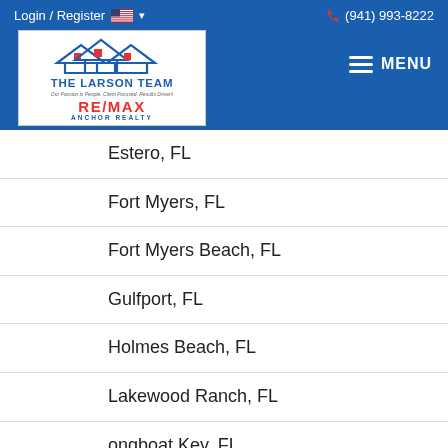Login / Register  (941) 993-8222
[Figure (logo): The Larson Team RE/MAX Anchor Realty logo with house icons]
Estero, FL
Fort Myers, FL
Fort Myers Beach, FL
Gulfport, FL
Holmes Beach, FL
Lakewood Ranch, FL
Longboat Key, FL
Marco Island, FL (partial)